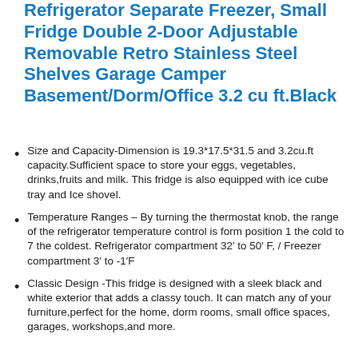Refrigerator Separate Freezer, Small Fridge Double 2-Door Adjustable Removable Retro Stainless Steel Shelves Garage Camper Basement/Dorm/Office 3.2 cu ft.Black
Size and Capacity-Dimension is 19.3*17.5*31.5 and 3.2cu.ft capacity.Sufficient space to store your eggs, vegetables, drinks,fruits and milk. This fridge is also equipped with ice cube tray and Ice shovel.
Temperature Ranges – By turning the thermostat knob, the range of the refrigerator temperature control is form position 1 the cold to 7 the coldest. Refrigerator compartment 32′ to 50′ F, / Freezer compartment 3′ to -1′F
Classic Design -This fridge is designed with a sleek black and white exterior that adds a classy touch. It can match any of your furniture,perfect for the home, dorm rooms, small office spaces, garages, workshops,and more.